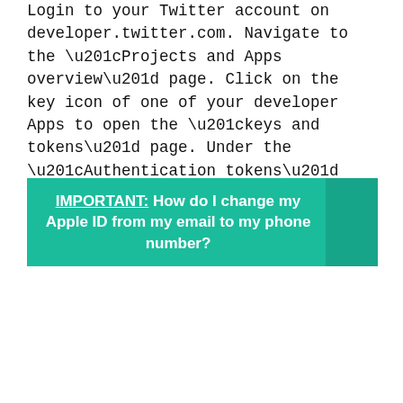Login to your Twitter account on developer.twitter.com. Navigate to the “Projects and Apps overview” page. Click on the key icon of one of your developer Apps to open the “keys and tokens” page. Under the “Authentication tokens” section, retrieve your API Key and API Secret Key.
IMPORTANT: How do I change my Apple ID from my email to my phone number?